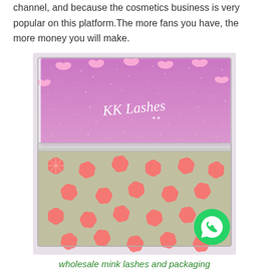channel, and because the cosmetics business is very popular on this platform.The more fans you have, the more money you will make.
[Figure (photo): A decorative cosmetics/lash case with clear acrylic lid. The lid features a pink glittery background with pink butterfly designs and the cursive text 'KK Lashes'. The bottom portion has a coral/pink floral pattern on a grey background. The box sits at a slight angle on a light surface.]
wholesale mink lashes and packaging